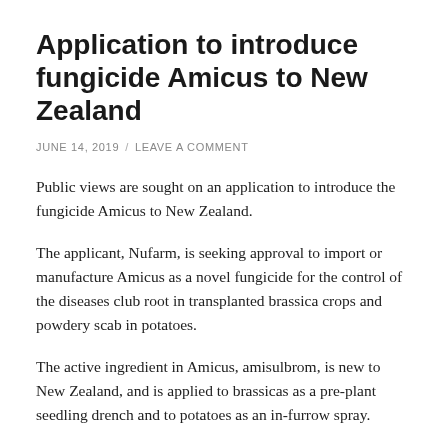Application to introduce fungicide Amicus to New Zealand
JUNE 14, 2019 / LEAVE A COMMENT
Public views are sought on an application to introduce the fungicide Amicus to New Zealand.
The applicant, Nufarm, is seeking approval to import or manufacture Amicus as a novel fungicide for the control of the diseases club root in transplanted brassica crops and powdery scab in potatoes.
The active ingredient in Amicus, amisulbrom, is new to New Zealand, and is applied to brassicas as a pre-plant seedling drench and to potatoes as an in-furrow spray.